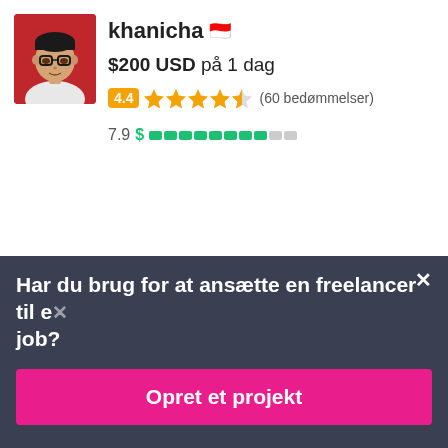[Figure (photo): Profile photo of khanicha, person wearing glasses with red background]
khanicha 🇮🇩
$200 USD på 1 dag
4.4 ★★★★½ (60 bedømmelser)
7.9 $ ██████████ (bar indicator)
[Figure (photo): Profile photo of Itblast, man in suit, circular crop]
Itblast 🇧🇩
$140 USD in 7 dage
5.0 ★★★★★ (98 bedømmelser)
Har du brug for at ansætte en freelancer til et job?
Opret et projekt